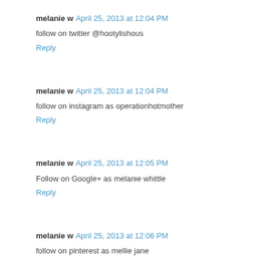melanie w  April 25, 2013 at 12:04 PM
follow on twitter @hootylishous
Reply
melanie w  April 25, 2013 at 12:04 PM
follow on instagram as operationhotmother
Reply
melanie w  April 25, 2013 at 12:05 PM
Follow on Google+ as melanie whittle
Reply
melanie w  April 25, 2013 at 12:06 PM
follow on pinterest as mellie jane